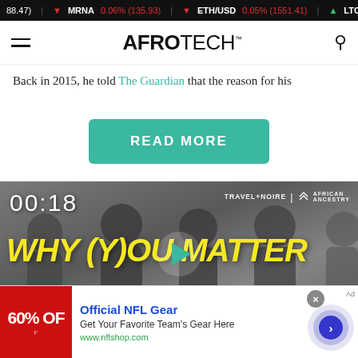88.47) | ▼ MRNA 0.06% (135.93) | ▼ ETH/USD 0.05% (1551.41) | ▲ LTC/USD
AFROTECH™
Back in 2015, he told The Guardian that the reason for his
READ MORE
[Figure (screenshot): Video thumbnail showing four men with text '00:18', 'TRAVEL+NOIRE | AFRICAN ANCESTRY', 'WHY (Y)OU MATTER', 'Black N[ature] Tracing', and a play button overlay]
[Figure (infographic): Advertisement for Official NFL Gear showing '60% OFF' red graphic, ad title 'Official NFL Gear', description 'Get Your Favorite Team's Gear Here', URL 'www.nflshop.com', close button, and circular arrow CTA button]